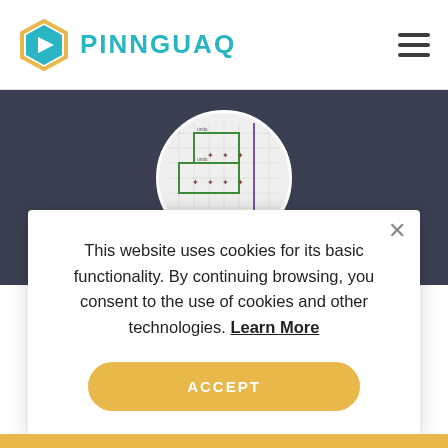[Figure (logo): Pinnguaq logo: hexagon with teal/yellow colors and a play button triangle, with PINNGUAQ text in teal]
[Figure (screenshot): Circular image showing what appears to be a grid/coordinate plane diagram with green rectangles and plant-like symbols]
This website uses cookies for its basic functionality. By continuing browsing, you consent to the use of cookies and other technologies. Learn More
ACCEPT